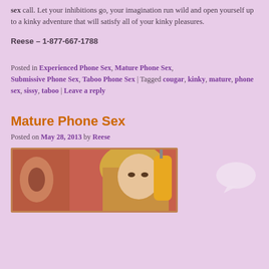sex call. Let your inhibitions go, your imagination run wild and open yourself up to a kinky adventure that will satisfy all of your kinky pleasures.
Reese – 1-877-667-1788
Posted in Experienced Phone Sex, Mature Phone Sex, Submissive Phone Sex, Taboo Phone Sex | Tagged cougar, kinky, mature, phone sex, sissy, taboo | Leave a reply
Mature Phone Sex
Posted on May 28, 2013 by Reese
[Figure (photo): A blonde woman looking at the camera with an artistic painting in the background and a yellow cylindrical lamp on the right side.]